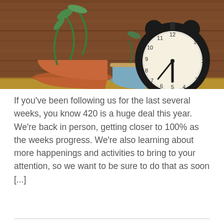[Figure (photo): A vintage alarm clock showing approximately 6:30, placed on a wooden shelf next to two potted plants (one terracotta with a tall green plant, one small blue pot), against a warm brown wooden background.]
If you've been following us for the last several weeks, you know 420 is a huge deal this year. We're back in person, getting closer to 100% as the weeks progress. We're also learning about more happenings and activities to bring to your attention, so we want to be sure to do that as soon [...]
READ MORE »